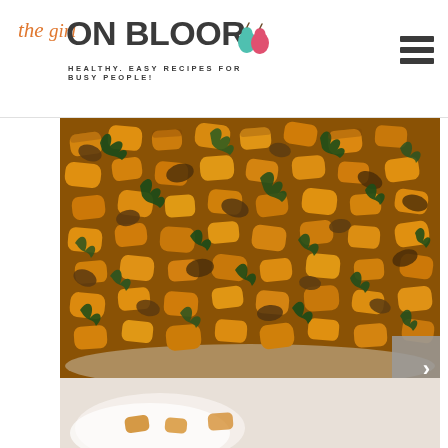the girl ON BLOOR | HEALTHY. EASY RECIPES FOR BUSY PEOPLE!
[Figure (photo): Close-up overhead photo of a skillet with golden-orange pumpkin or butternut squash gnocchi pieces sauteed with mushrooms and dark leafy kale greens, showing a rustic autumnal dish.]
[Figure (photo): Partial view of a second food photo at bottom of page, showing white linen or paper background with food items, partially cut off.]